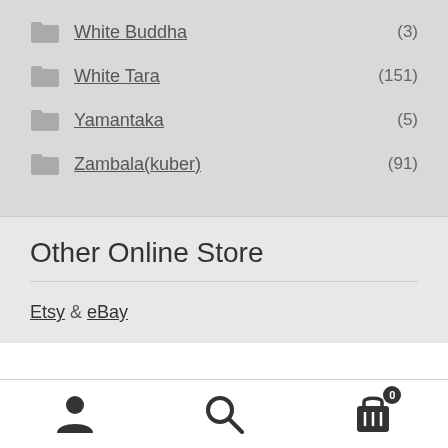White Buddha (3)
White Tara (151)
Yamantaka (5)
Zambala(kuber) (91)
Other Online Store
Etsy & eBay
Navigation icons: user, search, cart (0)